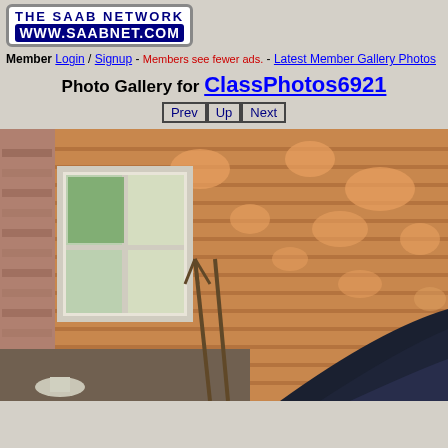[Figure (logo): The Saab Network logo with www.saabnet.com URL]
Member Login / Signup - Members see fewer ads. - Latest Member Gallery Photos
Photo Gallery for ClassPhotos6921
Prev Up Next
[Figure (photo): Outdoor photo showing a house/building exterior with wood siding, a white-framed window, tools leaning against the wall, and the roof/windshield of a dark-colored car in the lower right. Tree shadows are visible on the siding.]